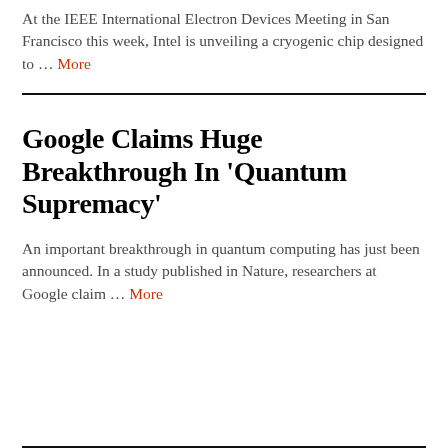At the IEEE International Electron Devices Meeting in San Francisco this week, Intel is unveiling a cryogenic chip designed to … More
Google Claims Huge Breakthrough In 'Quantum Supremacy'
An important breakthrough in quantum computing has just been announced. In a study published in Nature, researchers at Google claim … More